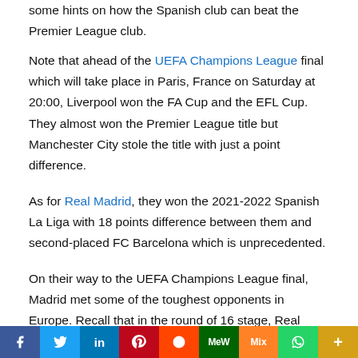some hints on how the Spanish club can beat the Premier League club.
Note that ahead of the UEFA Champions League final which will take place in Paris, France on Saturday at 20:00, Liverpool won the FA Cup and the EFL Cup. They almost won the Premier League title but Manchester City stole the title with just a point difference.
As for Real Madrid, they won the 2021-2022 Spanish La Liga with 18 points difference between them and second-placed FC Barcelona which is unprecedented.
On their way to the UEFA Champions League final, Madrid met some of the toughest opponents in Europe. Recall that in the round of 16 stage, Real Madrid knocked out star-studded Paris
[Figure (infographic): Social media sharing bar with icons: Facebook (blue), Twitter (light blue), LinkedIn (dark blue), Pinterest (red), Reddit (orange-red), MeWe (dark green), Mix (orange), WhatsApp (green), More (gold/yellow)]